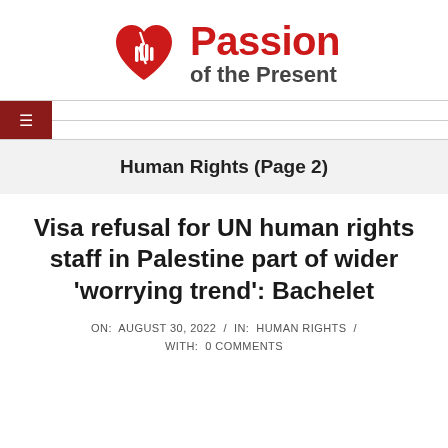[Figure (logo): Passion of the Present logo: red broken heart with hand silhouette inside, beside bold red text 'Passion' and dark gray text 'of the Present']
Human Rights (Page 2)
Visa refusal for UN human rights staff in Palestine part of wider 'worrying trend': Bachelet
ON: AUGUST 30, 2022 / IN: HUMAN RIGHTS / WITH: 0 COMMENTS